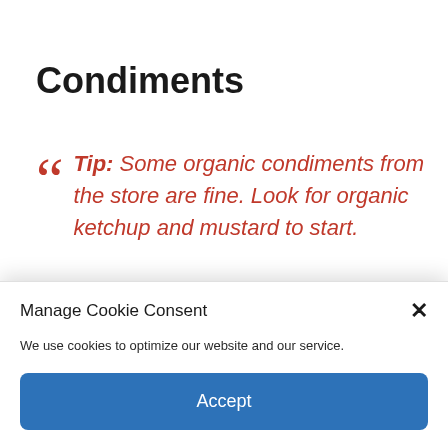Condiments
Tip: Some organic condiments from the store are fine. Look for organic ketchup and mustard to start.
Manage Cookie Consent
We use cookies to optimize our website and our service.
Accept